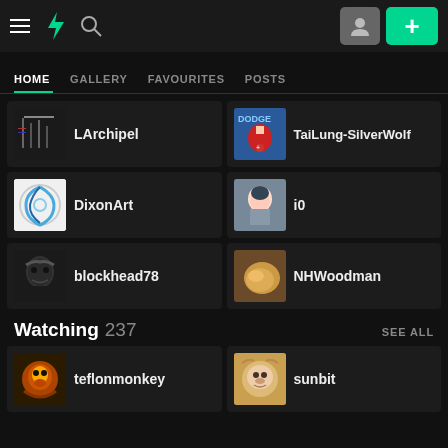DeviantArt navigation bar with hamburger menu, DA logo, search icon, profile button, and + button
HOME
GALLERY
FAVOURITES
POSTS
LArchipel
TaiLung-SilverWolf
DixonArt
i0
blockhead78
NHWoodman
Watching 237
SEE ALL
teflonmonkey
sunbit